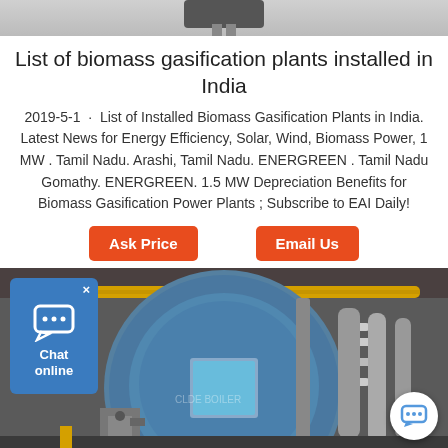[Figure (photo): Partial top view of a dark mechanical device/equipment against white background]
List of biomass gasification plants installed in India
2019-5-1 · List of Installed Biomass Gasification Plants in India. Latest News for Energy Efficiency, Solar, Wind, Biomass Power, 1 MW . Tamil Nadu. Arashi, Tamil Nadu. ENERGREEN . Tamil Nadu. Gomathy. ENERGREEN. 1.5 MW Depreciation Benefits for Biomass Gasification Power Plants ; Subscribe to EAI Daily!
[Figure (other): Ask Price button (orange rounded rectangle)]
[Figure (other): Email Us button (orange rounded rectangle)]
[Figure (photo): Industrial boiler room with blue cylindrical boiler, yellow gas pipes, and various industrial equipment. Chat online widget overlay on left side. Chat bubble button on bottom right.]